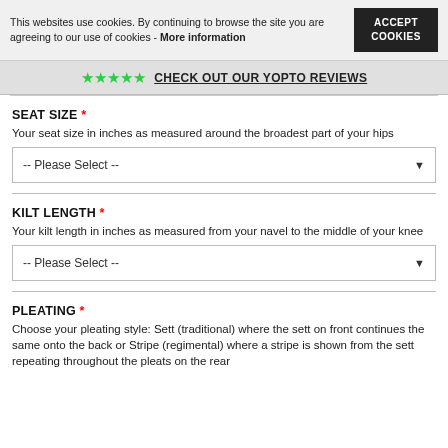This websites use cookies. By continuing to browse the site you are agreeing to our use of cookies - More information
ACCEPT COOKIES
★★★★★ CHECK OUT OUR YOPTO REVIEWS
SEAT SIZE *
Your seat size in inches as measured around the broadest part of your hips
-- Please Select --
KILT LENGTH *
Your kilt length in inches as measured from your navel to the middle of your knee
-- Please Select --
PLEATING *
Choose your pleating style: Sett (traditional) where the sett on front continues the same onto the back or Stripe (regimental) where a stripe is shown from the sett repeating throughout the pleats on the rear